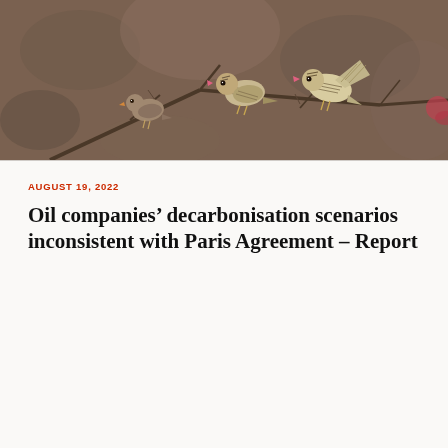[Figure (photo): Three small birds perched on bare branches against a blurred brown/mauve background. Two birds on the right appear to be streaked sparrow-like birds with pink-tipped beaks; one bird on the left is smaller and plainer brownish-grey.]
AUGUST 19, 2022
Oil companies’ decarbonisation scenarios inconsistent with Paris Agreement – Report